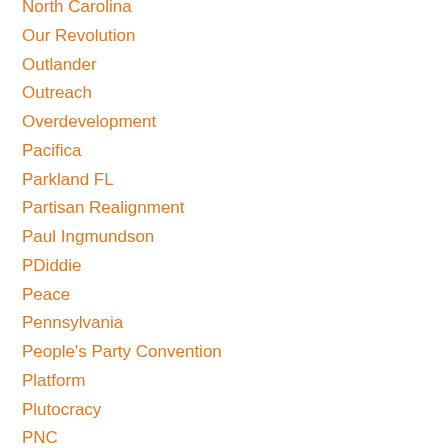North Carolina
Our Revolution
Outlander
Outreach
Overdevelopment
Pacifica
Parkland FL
Partisan Realignment
Paul Ingmundson
PDiddie
Peace
Pennsylvania
People's Party Convention
Platform
Plutocracy
PNC
Police
Police Brutality
Politics Done Right
Polls
Poor People's Campaign